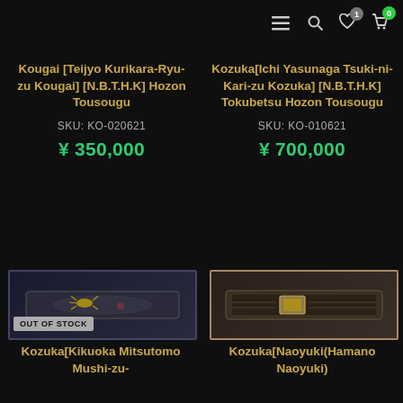Navigation bar with hamburger menu, search, wishlist (1), and cart (0) icons
Kougai [Teijyo Kurikara-Ryu-zu Kougai] [N.B.T.H.K] Hozon Tousougu
SKU: KO-020621
¥ 350,000
Kozuka[Ichi Yasunaga Tsuki-ni-Kari-zu Kozuka] [N.B.T.H.K] Tokubetsu Hozon Tousougu
SKU: KO-010621
¥ 700,000
[Figure (photo): Product photo of a kozuka (Japanese sword fitting) in a dark display box, showing a metal piece with gold decorative elements (insect motif). Overlaid with OUT OF STOCK badge.]
Kozuka[Kikuoka Mitsutomo Mushi-zu-
[Figure (photo): Product photo of a kozuka (Japanese sword fitting) in a pinkish/beige display box, showing a dark metal piece with gold decorative elements.]
Kozuka[Naoyuki(Hamano Naoyuki)